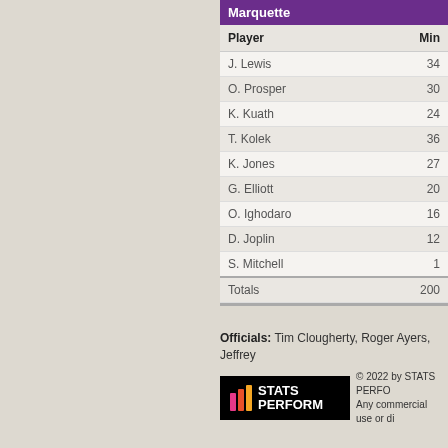| Player | Min |
| --- | --- |
| J. Lewis | 34 |
| O. Prosper | 30 |
| K. Kuath | 24 |
| T. Kolek | 36 |
| K. Jones | 27 |
| G. Elliott | 20 |
| O. Ighodaro | 16 |
| D. Joplin | 12 |
| S. Mitchell | 1 |
| Totals | 200 |
Officials: Tim Clougherty, Roger Ayers, Jeffrey
[Figure (logo): STATS PERFORM logo with colorful stripe icon on black background]